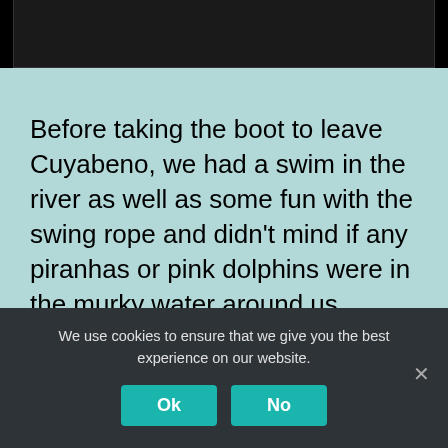[Figure (photo): Partial view of a dark photograph at the top of the page, showing what appears to be an animal or person, cropped heavily.]
Before taking the boot to leave Cuyabeno, we had a swim in the river as well as some fun with the swing rope and didn’t mind if any piranhas or pink dolphins were in the murky water around us.
We use cookies to ensure that we give you the best experience on our website.
Ok
No